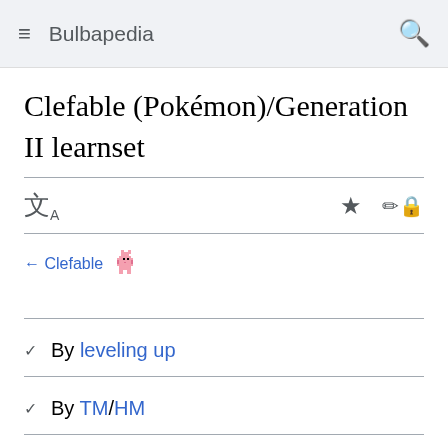Bulbapedia
Clefable (Pokémon)/Generation II learnset
← Clefable
By leveling up
By TM/HM
By breeding